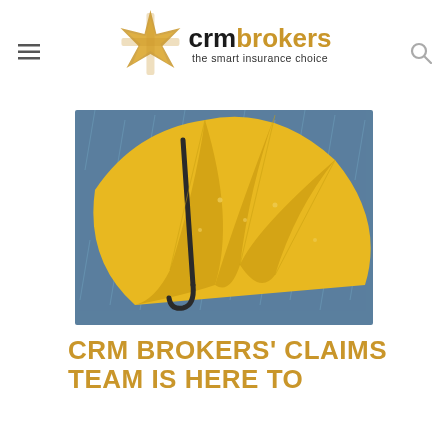CRM Brokers — the smart insurance choice
[Figure (photo): Close-up of a yellow umbrella with rain in the background against a blue-grey sky]
CRM BROKERS' CLAIMS TEAM IS HERE TO